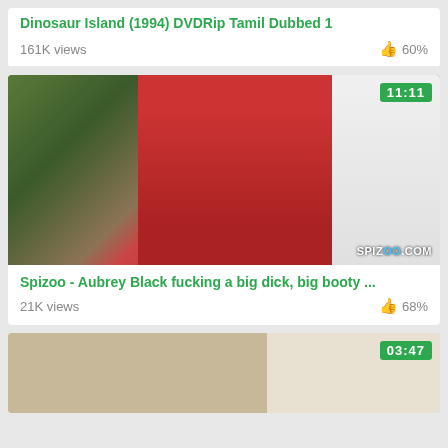Dinosaur Island (1994) DVDRip Tamil Dubbed 1
161K views   👍 60%
[Figure (photo): Thumbnail of a woman in a red dress posing in a room with a plant and London-themed artwork. Duration badge: 11:11. Watermark: SPIZOO.COM]
Spizoo - Aubrey Black fucking a big dick, big booty ...
21K views   👍 68%
[Figure (photo): Partial thumbnail of a video with duration badge 03:47, partially visible.]